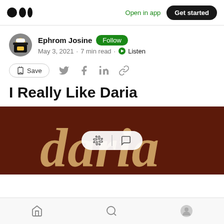Medium logo | Open in app | Get started
Ephrom Josine  Follow
May 3, 2021 · 7 min read · Listen
Save (with bookmark icon, Twitter, Facebook, LinkedIn, link icons)
I Really Like Daria
[Figure (illustration): Dark brown background with cream/tan cursive 'daria' text logo, with a white pill-shaped overlay containing clapping and comment icons]
Home | Search | Profile (bottom navigation bar)